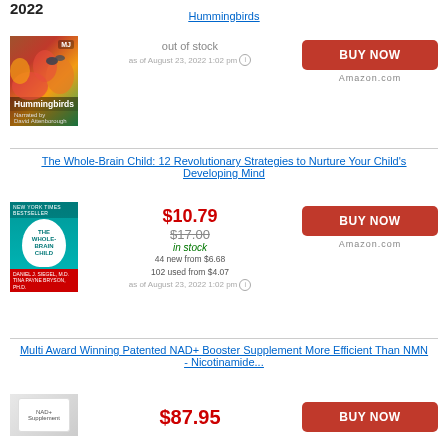2022
Hummingbirds
[Figure (photo): Book cover for Hummingbirds, narrated by David Attenborough]
out of stock
as of August 23, 2022 1:02 pm
BUY NOW
Amazon.com
The Whole-Brain Child: 12 Revolutionary Strategies to Nurture Your Child's Developing Mind
[Figure (photo): Book cover for The Whole-Brain Child]
$10.79
$17.00
in stock
44 new from $6.68
102 used from $4.07
as of August 23, 2022 1:02 pm
BUY NOW
Amazon.com
Multi Award Winning Patented NAD+ Booster Supplement More Efficient Than NMN - Nicotinamide...
[Figure (photo): Product image for NAD+ Booster Supplement]
$87.95
BUY NOW